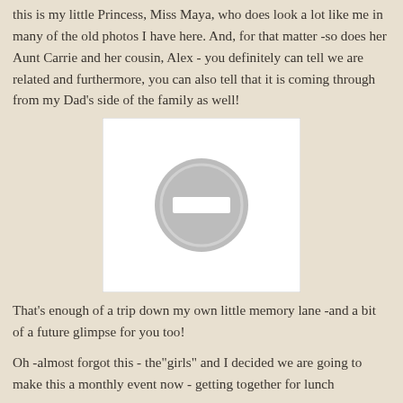this is my little Princess, Miss Maya, who does look a lot like me in many of the old photos I have here. And, for that matter -so does her Aunt Carrie and her cousin, Alex - you definitely can tell we are related and furthermore, you can also tell that it is coming through from my Dad's side of the family as well!
[Figure (photo): A photo placeholder showing a grey circle with a minus/stop icon in the center, on a white background rectangle.]
That's enough of a trip down my own little memory lane -and a bit of a future glimpse for you too!
Oh -almost forgot this - the"girls" and I decided we are going to make this a monthly event now - getting together for lunch